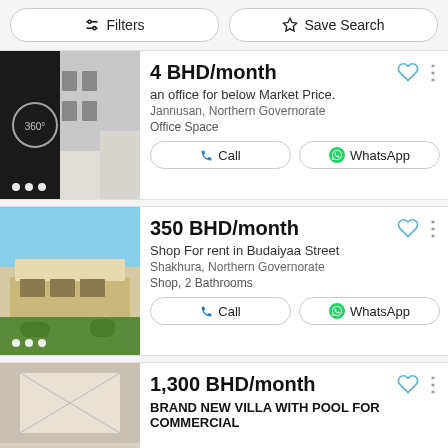Filters | Save Search
4 BHD/month
an office for below Market Price.
Jannusan, Northern Governorate
Office Space
350 BHD/month
Shop For rent in Budaiyaa Street
Shakhura, Northern Governorate
Shop, 2 Bathrooms
1,300 BHD/month
BRAND NEW VILLA WITH POOL FOR COMMERCIAL